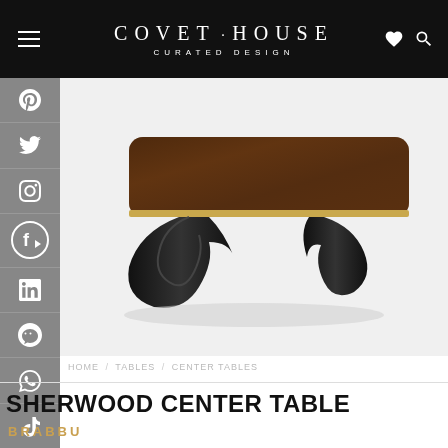COVET·HOUSE  CURATED DESIGN
[Figure (photo): A luxury center table (Sherwood Center Table) with a dark walnut wood top with gold/brass trim edging and two sculptural black lacquered curved legs, photographed on a white background.]
HOME / TABLES / CENTER TABLES
SHERWOOD CENTER TABLE
BRABBU